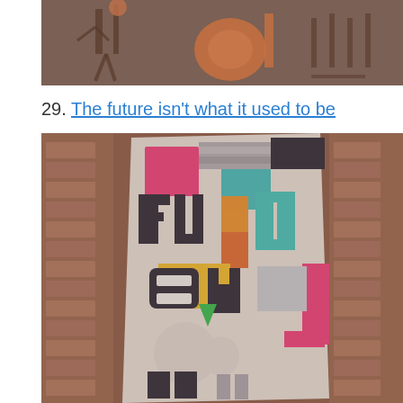[Figure (photo): Top portion of an illustration or artwork showing figures with sticks/instruments on a dark brownish-red background]
29. The future isn't what it used to be
[Figure (photo): Colorful typographic poster artwork with large stylized letters spelling 'the future isn't what it used to be' in geometric shapes and bright colors (pink, yellow, teal, green), displayed against a brick wall background]